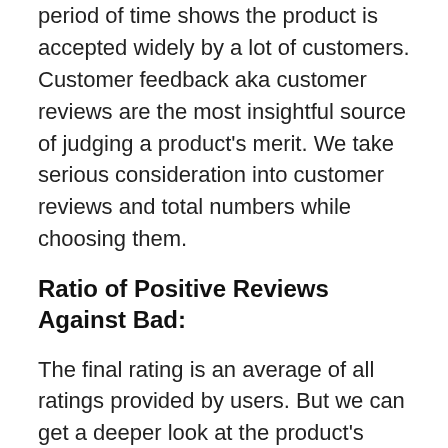period of time shows the product is accepted widely by a lot of customers. Customer feedback aka customer reviews are the most insightful source of judging a product's merit. We take serious consideration into customer reviews and total numbers while choosing them.
Ratio of Positive Reviews Against Bad:
The final rating is an average of all ratings provided by users. But we can get a deeper look at the product's performance if we analyze the ratings on each star level.
Ranking of the Seller: